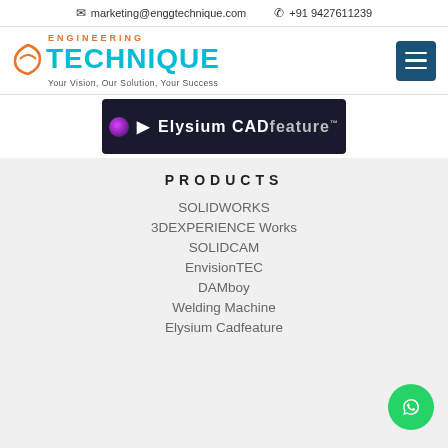✉ marketing@enggtechnique.com  ✆ +91 9427611239
[Figure (logo): Engineering Technique logo with teal text and orange arc, tagline: Your Vision, Our Solution, Your Success]
[Figure (screenshot): Elysium CADfeature dark banner with purple orb logo]
PRODUCTS
SOLIDWORKS
3DEXPERIENCE Works
SOLIDCAM
EnvisionTEC
DAMboy
Welding Machine
Elysium Cadfeature